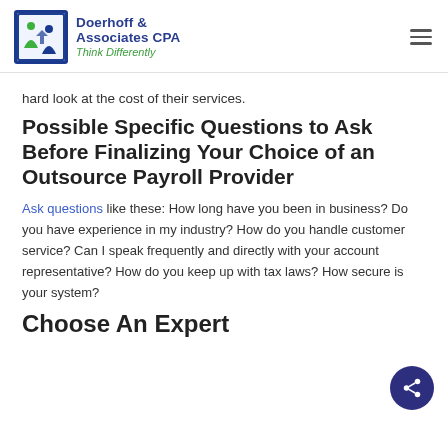Doerhoff & Associates CPA — Think Differently
hard look at the cost of their services.
Possible Specific Questions to Ask Before Finalizing Your Choice of an Outsource Payroll Provider
Ask questions like these: How long have you been in business? Do you have experience in my industry? How do you handle customer service? Can I speak frequently and directly with your account representative? How do you keep up with tax laws? How secure is your system?
Choose An Expert